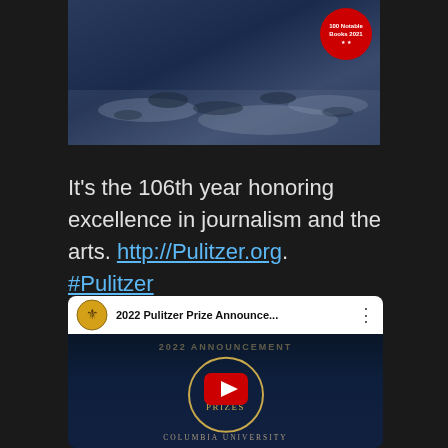[Figure (photo): Partial view of a book cover showing a dark blue/grey snowy or icy landscape scene, with a New York Times 100 Notable Books 2021 red badge in the top right corner]
It's the 106th year honoring excellence in journalism and the arts. http://Pulitzer.org. #Pulitzer
[Figure (screenshot): YouTube video embed showing '2022 Pulitzer Prize Annouce...' with a thumbnail displaying '2022 ANNOUNCEMENT', a gold circle containing 'The Pulitzer Prizes' text, a red YouTube play button in the center, and 'COLUMBIA UNIVERSITY' at the bottom on a dark navy background]